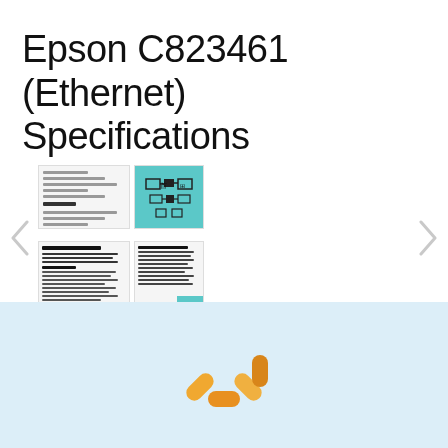Epson C823461 (Ethernet) Specifications
[Figure (screenshot): Document thumbnail carousel showing 4 page thumbnails arranged in 2 rows, with left and right navigation arrows and two pagination dots below]
[Figure (other): Loading spinner animation shown in a light blue panel at the bottom of the page]